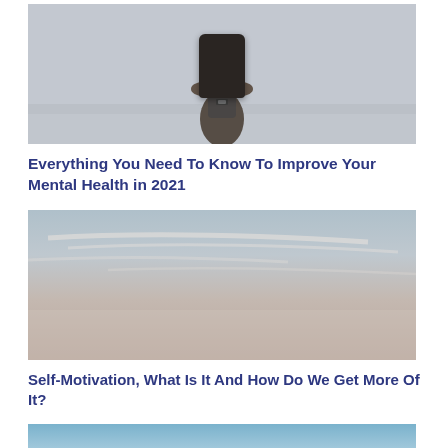[Figure (photo): Man with backpack seen from behind, standing in a foggy misty field or landscape, wearing a dark jacket and grey backpack]
Everything You Need To Know To Improve Your Mental Health in 2021
[Figure (photo): Wide sky with thin streaks of clouds, pinkish-grey tone, calm atmospheric landscape]
Self-Motivation, What Is It And How Do We Get More Of It?
[Figure (photo): Blue sky with white puffy clouds along the bottom, bright open sky scene]